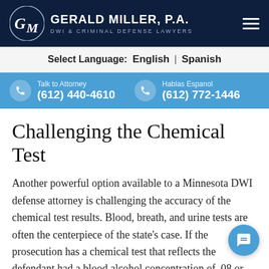Gerald Miller, P.A. — DWI & Criminal Defense Lawyers
Select Language: English | Spanish
Talk to Attorney (612) 440-4610  |  Hablas Espanol (612) 772-1446
Challenging the Chemical Test
Another powerful option available to a Minnesota DWI defense attorney is challenging the accuracy of the chemical test results. Blood, breath, and urine tests are often the centerpiece of the state's case. If the prosecution has a chemical test that reflects the defendant had a blood alcohol concentration of .08 or more while driving, they have enough evidence to make their case at trial.